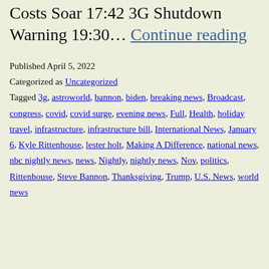Costs Soar 17:42 3G Shutdown Warning 19:30… Continue reading
Published April 5, 2022
Categorized as Uncategorized
Tagged 3g, astroworld, bannon, biden, breaking news, Broadcast, congress, covid, covid surge, evening news, Full, Health, holiday travel, infrastructure, infrastructure bill, International News, January 6, Kyle Rittenhouse, lester holt, Making A Difference, national news, nbc nightly news, news, Nightly, nightly news, Nov, politics, Rittenhouse, Steve Bannon, Thanksgiving, Trump, U.S. News, world news